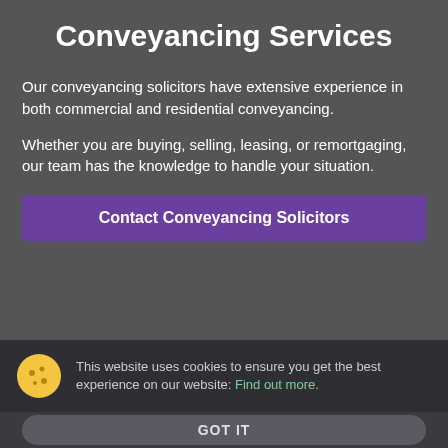Conveyancing Services
Our conveyancing solicitors have extensive experience in both commercial and residential conveyancing.
Whether you are buying, selling, leasing, or remortgaging, our team has the knowledge to handle your situation.
Contact Conveyancing Solicitors
This website uses cookies to ensure you get the best experience on our website: Find out more.
GOT IT